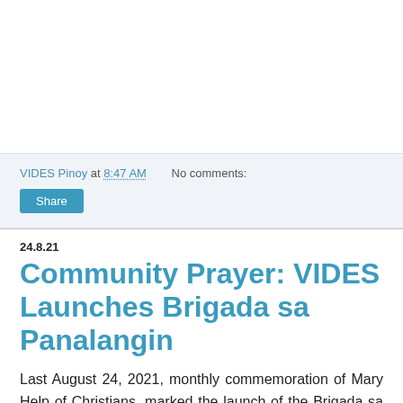VIDES Pinoy at 8:47 AM   No comments:
Share
24.8.21
Community Prayer: VIDES Launches Brigada sa Panalangin
Last August 24, 2021, monthly commemoration of Mary Help of Christians, marked the launch of the Brigada sa Panalangin, a monthly virtual prayer gathering of FMA Sisters, VIDES volunteers, and the beneficiaries from communities being